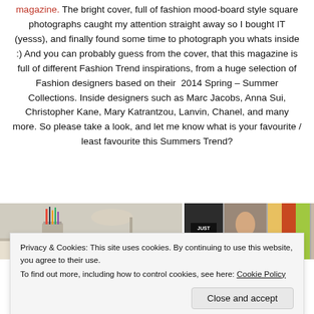magazine. The bright cover, full of fashion mood-board style square photographs caught my attention straight away so I bought IT (yesss), and finally found some time to photograph you whats inside :) And you can probably guess from the cover, that this magazine is full of different Fashion Trend inspirations, from a huge selection of Fashion designers based on their 2014 Spring – Summer Collections. Inside designers such as Marc Jacobs, Anna Sui, Christopher Kane, Mary Katrantzou, Lanvin, Chanel, and many more. So please take a look, and let me know what is your favourite / least favourite this Summers Trend?
[Figure (photo): Photo strip showing a desk with pencils/pens in a holder on the left, and fashion magazine collage thumbnails on the right including a 'Just Cavalli' label and runway photos]
Privacy & Cookies: This site uses cookies. By continuing to use this website, you agree to their use.
To find out more, including how to control cookies, see here: Cookie Policy